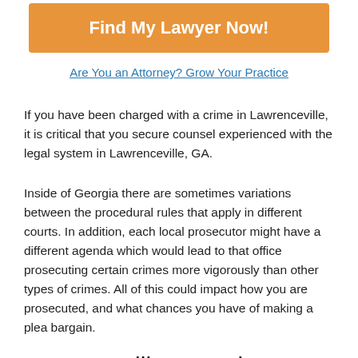[Figure (other): Orange button with white bold text reading 'Find My Lawyer Now!']
Are You an Attorney? Grow Your Practice
If you have been charged with a crime in Lawrenceville, it is critical that you secure counsel experienced with the legal system in Lawrenceville, GA.
Inside of Georgia there are sometimes variations between the procedural rules that apply in different courts. In addition, each local prosecutor might have a different agenda which would lead to that office prosecuting certain crimes more vigorously than other types of crimes. All of this could impact how you are prosecuted, and what chances you have of making a plea bargain.
Lawrenceville Georgia Criminal